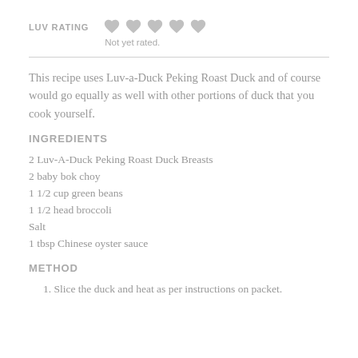LUV RATING   Not yet rated.
This recipe uses Luv-a-Duck Peking Roast Duck and of course would go equally as well with other portions of duck that you cook yourself.
INGREDIENTS
2 Luv-A-Duck Peking Roast Duck Breasts
2 baby bok choy
1 1/2 cup green beans
1 1/2 head broccoli
Salt
1 tbsp Chinese oyster sauce
METHOD
1. Slice the duck and heat as per instructions on packet.